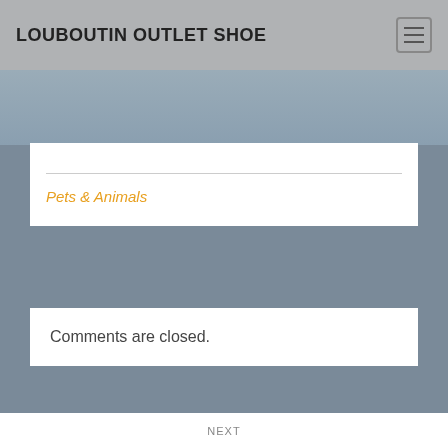LOUBOUTIN OUTLET SHOE
Pets & Animals
Comments are closed.
PREVIOUS
Getting To The Point – Experts
NEXT